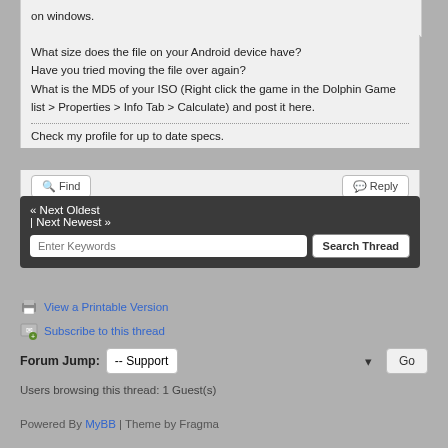on windows.
What size does the file on your Android device have?
Have you tried moving the file over again?
What is the MD5 of your ISO (Right click the game in the Dolphin Game list > Properties > Info Tab > Calculate) and post it here.
Check my profile for up to date specs.
« Next Oldest | Next Newest »
View a Printable Version
Subscribe to this thread
Forum Jump: -- Support
Users browsing this thread: 1 Guest(s)
Powered By MyBB | Theme by Fragma